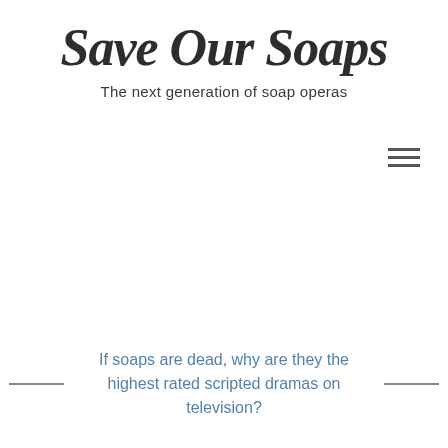Save Our Soaps
The next generation of soap operas
Tag: broadcast television
If soaps are dead, why are they the highest rated scripted dramas on television?